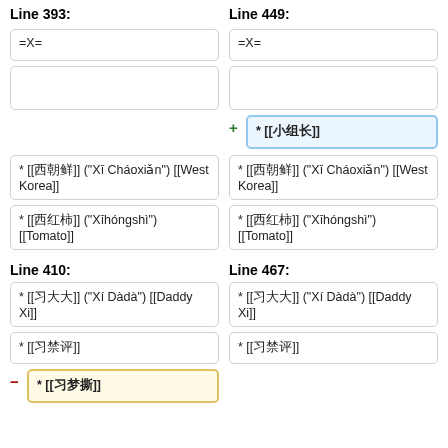Line 393:
Line 449:
=X=
=X=
* [[小组长]]
* [[西朝鲜]] ("Xī Cháoxiǎn") [[West Korea]]
* [[西朝鲜]] ("Xī Cháoxiǎn") [[West Korea]]
* [[西红柿]] ("Xīhóngshì") [[Tomato]]
* [[西红柿]] ("Xīhóngshì") [[Tomato]]
Line 410:
Line 467:
* [[习大大]] ("Xí Dàdà") [[Daddy Xi]]
* [[习大大]] ("Xí Dàdà") [[Daddy Xi]]
* [[习禁评]]
* [[习禁评]]
* [[习梦撕]]